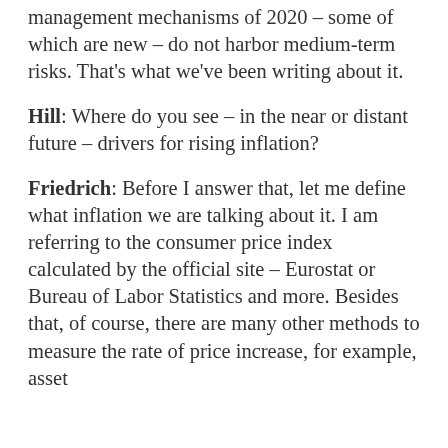management mechanisms of 2020 – some of which are new – do not harbor medium-term risks. That's what we've been writing about it.
Hill: Where do you see – in the near or distant future – drivers for rising inflation?
Friedrich: Before I answer that, let me define what inflation we are talking about it. I am referring to the consumer price index calculated by the official site – Eurostat or Bureau of Labor Statistics and more. Besides that, of course, there are many other methods to measure the rate of price increase, for example, asset